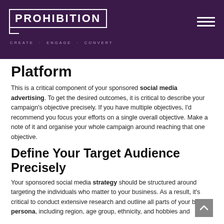PROHIBITION CREATE · ENGAGE · CONVERT
Platform
This is a critical component of your sponsored social media advertising. To get the desired outcomes, it is critical to describe your campaign's objective precisely. If you have multiple objectives, I'd recommend you focus your efforts on a single overall objective. Make a note of it and organise your whole campaign around reaching that one objective.
Define Your Target Audience Precisely
Your sponsored social media strategy should be structured around targeting the individuals who matter to your business. As a result, it's critical to conduct extensive research and outline all parts of your buyer persona, including region, age group, ethnicity, and hobbies and